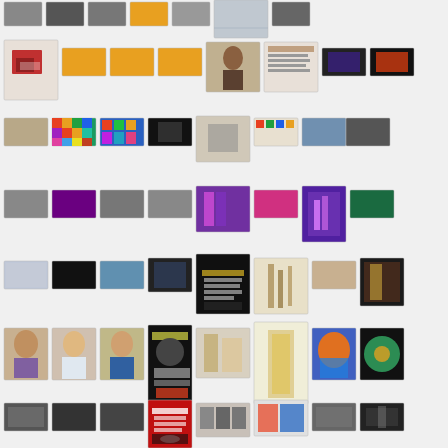[Figure (screenshot): Grid of thumbnail images arranged in rows, showing various screenshots, photos, and digital artwork including presentations, portraits, and artwork]
[Figure (screenshot): Row 1: various thumbnails including a chair, presentations, portraits, digital art, and event images]
[Figure (screenshot): Row 2: thumbnails with colorful grid artwork, black and white images, and group photos]
[Figure (screenshot): Row 3: thumbnails with event photos, purple toned images, and artwork]
[Figure (screenshot): Row 4: thumbnails with website screenshots, video stills, and artwork]
[Figure (screenshot): Row 5: thumbnails with portraits of people, a welcome screen, and artwork]
[Figure (screenshot): Row 6: thumbnails with event photos, red poster, and gallery images]